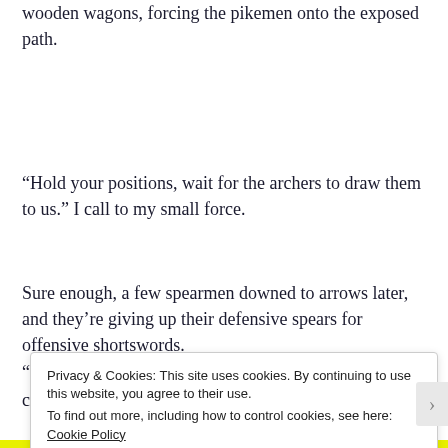wooden wagons, forcing the pikemen onto the exposed path.
“Hold your positions, wait for the archers to draw them to us.” I call to my small force.
Sure enough, a few spearmen downed to arrows later, and they’re giving up their defensive spears for offensive shortswords.
Privacy & Cookies: This site uses cookies. By continuing to use this website, you agree to their use.
To find out more, including how to control cookies, see here: Cookie Policy
Close and accept